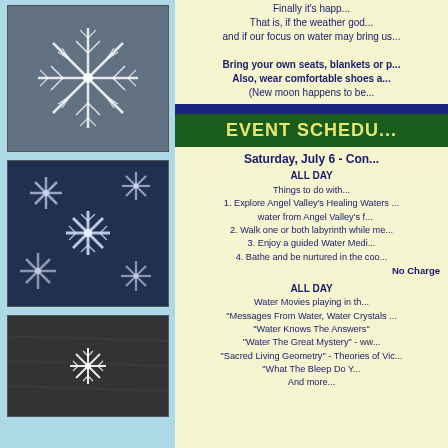[Figure (photo): Close-up photo of a detailed snowflake crystal against a dark background]
[Figure (photo): Close-up photo of multiple star-shaped snowflake crystals clustered together against a dark blue background]
[Figure (photo): Photo of small snowflake crystals on a dark textured surface]
Finally it's happ... That is, if the weather god... and if our focus on water may bring us...
Bring your own seats, blankets or p... Also, wear comfortable shoes a... (New moon happens to be...
EVENT SCHEDU...
Saturday, July 6 - Co...
ALL DAY
Things to do with...
1. Explore Angel Valley's Healing Waters ... water from Angel Valley's f...
2. Walk one or both labyrinth while me...
3. Enjoy a guided Water Medi...
4. Bathe and be nurtured in the coo...
No Charge
ALL DAY
Water Movies playing in th...
"Messages From Water, Water Crystals ...
"Water Knows The Answers"
"Water The Great Mystery" - ww...
"Sacred Living Geometry" - Theories of Vic...
"What The Bleep Do Y...
And more...